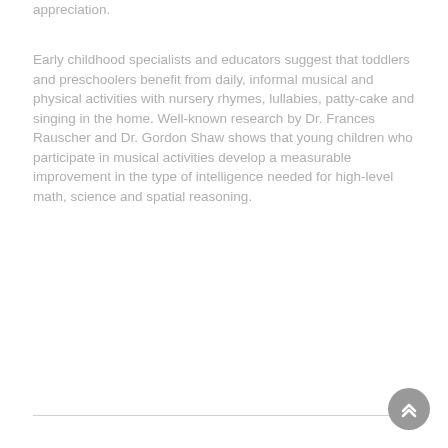appreciation.
Early childhood specialists and educators suggest that toddlers and preschoolers benefit from daily, informal musical and physical activities with nursery rhymes, lullabies, patty-cake and singing in the home. Well-known research by Dr. Frances Rauscher and Dr. Gordon Shaw shows that young children who participate in musical activities develop a measurable improvement in the type of intelligence needed for high-level math, science and spatial reasoning.